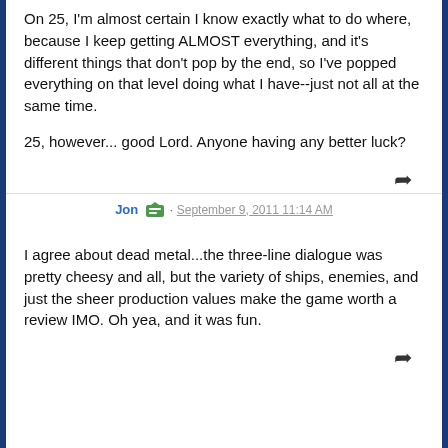On 25, I'm almost certain I know exactly what to do where, because I keep getting ALMOST everything, and it's different things that don't pop by the end, so I've popped everything on that level doing what I have--just not all at the same time.
25, however... good Lord. Anyone having any better luck?
Jon · September 9, 2011 11:14 AM
I agree about dead metal...the three-line dialogue was pretty cheesy and all, but the variety of ships, enemies, and just the sheer production values make the game worth a review IMO. Oh yea, and it was fun.